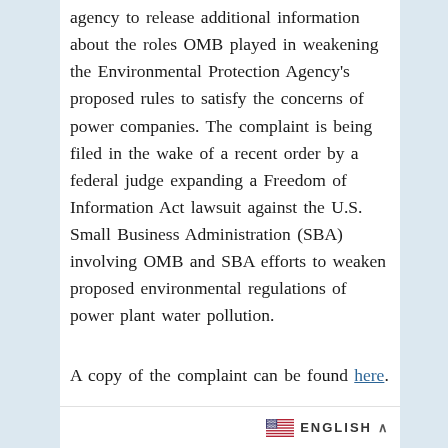agency to release additional information about the roles OMB played in weakening the Environmental Protection Agency's proposed rules to satisfy the concerns of power companies. The complaint is being filed in the wake of a recent order by a federal judge expanding a Freedom of Information Act lawsuit against the U.S. Small Business Administration (SBA) involving OMB and SBA efforts to weaken proposed environmental regulations of power plant water pollution.
A copy of the complaint can be found here.